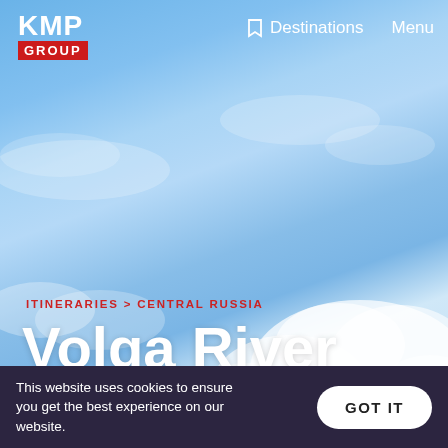[Figure (photo): Blue sky with white clouds background for a travel/cruise website page]
KMP GROUP   Destinations   Menu
ITINERARIES > CENTRAL RUSSIA
Volga River Cruise
As one of the biggest rivers in the world, the Volga River is synonymous with
This website uses cookies to ensure you get the best experience on our website.  GOT IT